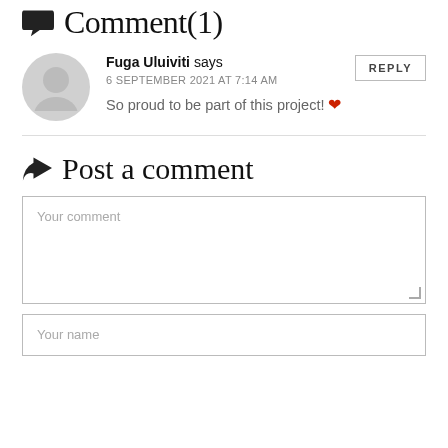Comment(1)
Fuga Uluiviti says
6 SEPTEMBER 2021 AT 7:14 AM
So proud to be part of this project! ❤
Post a comment
Your comment
Your name